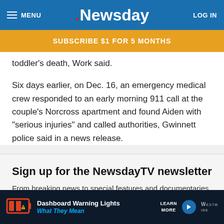MENU | Newsday | LOG IN
SUBSCRIBE $1 FOR 5 MONTHS
toddler's death, Work said.
Six days earlier, on Dec. 16, an emergency medical crew responded to an early morning 911 call at the couple's Norcross apartment and found Aiden with "serious injuries" and called authorities, Gwinnett police said in a news release.
Sign up for the NewsdayTV newsletter
From breaking news to special features and documentaries, the NewsdayTV team is covering the iss...
[Figure (screenshot): Advertisement banner: Dashboard Warning Lights What They Mean — LEARN MORE — Westmott logo]